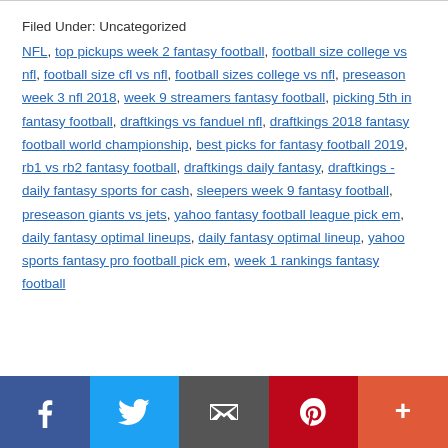Filed Under: Uncategorized
NFL, top pickups week 2 fantasy football, football size college vs nfl, football size cfl vs nfl, football sizes college vs nfl, preseason week 3 nfl 2018, week 9 streamers fantasy football, picking 5th in fantasy football, draftkings vs fanduel nfl, draftkings 2018 fantasy football world championship, best picks for fantasy football 2019, rb1 vs rb2 fantasy football, draftkings daily fantasy, draftkings - daily fantasy sports for cash, sleepers week 9 fantasy football, preseason giants vs jets, yahoo fantasy football league pick em, daily fantasy optimal lineups, daily fantasy optimal lineup, yahoo sports fantasy pro football pick em, week 1 rankings fantasy football